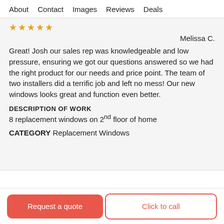About  Contact  Images  Reviews  Deals
★★★★★
Melissa C.
Great! Josh our sales rep was knowledgeable and low pressure, ensuring we got our questions answered so we had the right product for our needs and price point. The team of two installers did a terrific job and left no mess! Our new windows looks great and function even better.
DESCRIPTION OF WORK
8 replacement windows on 2nd floor of home
CATEGORY Replacement Windows
Request a quote
Click to call